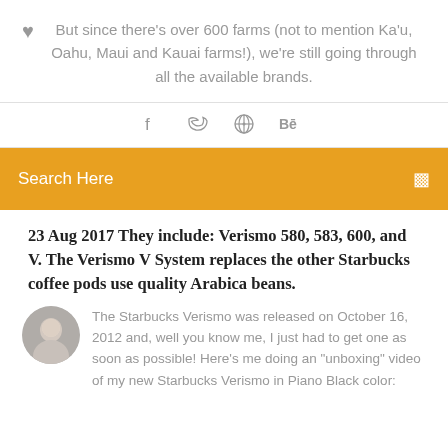But since there's over 600 farms (not to mention Ka'u, Oahu, Maui and Kauai farms!), we're still going through all the available brands.
[Figure (other): Social media share icons: Facebook, Twitter, Dribbble, Behance]
Search Here
23 Aug 2017 They include: Verismo 580, 583, 600, and V. The Verismo V System replaces the other Starbucks coffee pods use quality Arabica beans.
[Figure (photo): Circular avatar photo of a man]
The Starbucks Verismo was released on October 16, 2012 and, well you know me, I just had to get one as soon as possible! Here's me doing an "unboxing" video of my new Starbucks Verismo in Piano Black color: